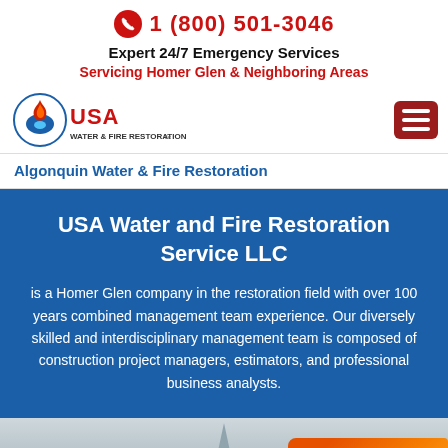1 (800) 501-3046
Expert 24/7 Emergency Services
Servicing Homer Glen & Neighboring Areas
[Figure (logo): USA Water & Fire Restoration LLC logo with flame and water drop icon]
Algonquin Water & Fire Restoration
USA Water and Fire Restoration Service LLC
is a Homer Glen company in the restoration field with over 100 years combined management team experience. Our diversely skilled and interdisciplinary management team is composed of construction project managers, estimators, and professional business analysts.
[Figure (photo): Photo showing USA Water & Fire Restoration branded truck and orange industrial equipment with a church steeple in the background]